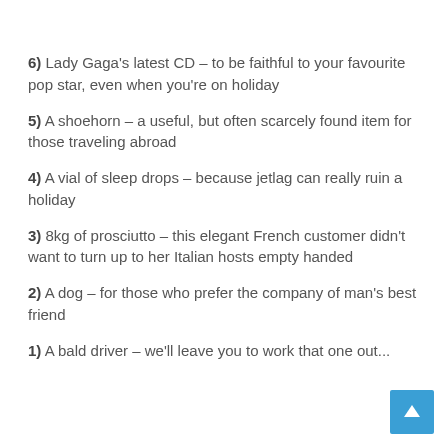6) Lady Gaga's latest CD – to be faithful to your favourite pop star, even when you're on holiday
5) A shoehorn – a useful, but often scarcely found item for those traveling abroad
4) A vial of sleep drops – because jetlag can really ruin a holiday
3) 8kg of prosciutto – this elegant French customer didn't want to turn up to her Italian hosts empty handed
2) A dog – for those who prefer the company of man's best friend
1) A bald driver – we'll leave you to work that one out...